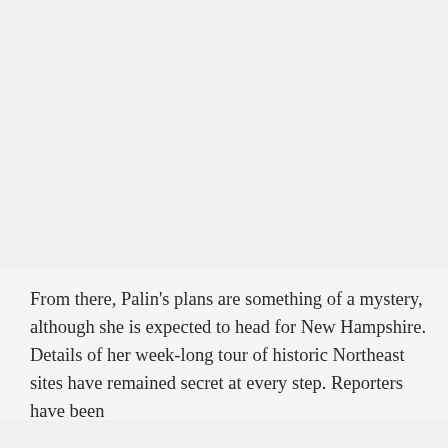[Figure (photo): Large grey/light image area occupying the top portion of the page]
From there, Palin's plans are something of a mystery, although she is expected to head for New Hampshire. Details of her week-long tour of historic Northeast sites have remained secret at every step. Reporters have been